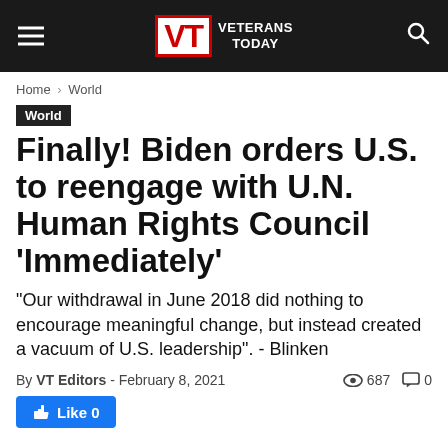VETERANS TODAY
Home › World
World
Finally! Biden orders U.S. to reengage with U.N. Human Rights Council 'Immediately'
"Our withdrawal in June 2018 did nothing to encourage meaningful change, but instead created a vacuum of U.S. leadership". - Blinken
By VT Editors - February 8, 2021  👁 687  💬 0
👍 Like 0